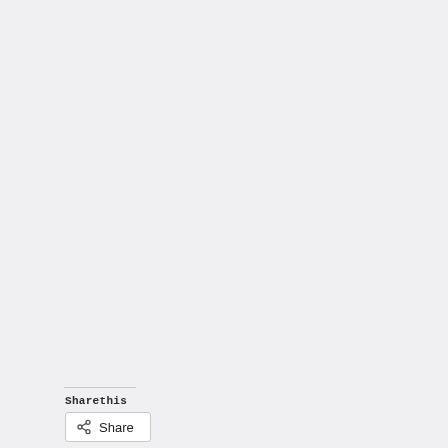Sharethis
Share
Subscribe To Our Free Newsletter
Type Email Here
SUBSCRIBE